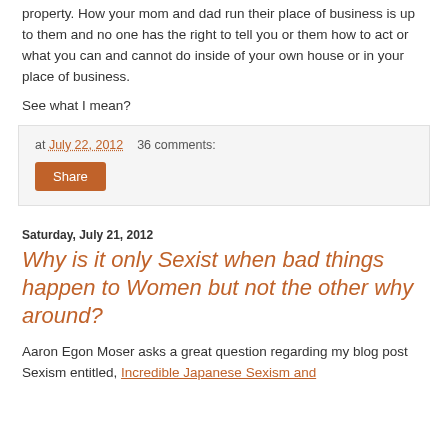property. How your mom and dad run their place of business is up to them and no one has the right to tell you or them how to act or what you can and cannot do inside of your own house or in your place of business.
See what I mean?
at July 22, 2012   36 comments:
Share
Saturday, July 21, 2012
Why is it only Sexist when bad things happen to Women but not the other why around?
Aaron Egon Moser asks a great question regarding my blog post Sexism entitled, Incredible Japanese Sexism and